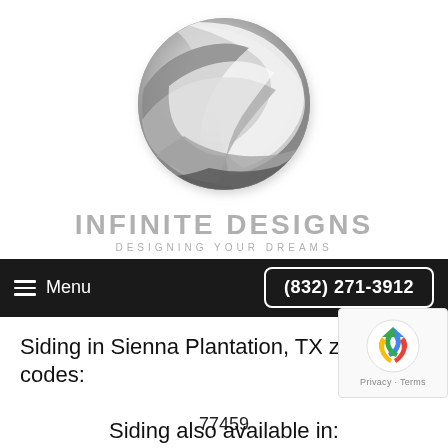[Figure (logo): Infinite Designs company logo — a 3D metallic sphere made of interlocking ribbon-like bands in silver/grey tones, above the text INFINITE DESIGNS and tagline DESIGNING YOUR DREAMS]
Menu  (832) 271-3912
Siding in Sienna Plantation, TX zip codes:
77459
Siding also available in: